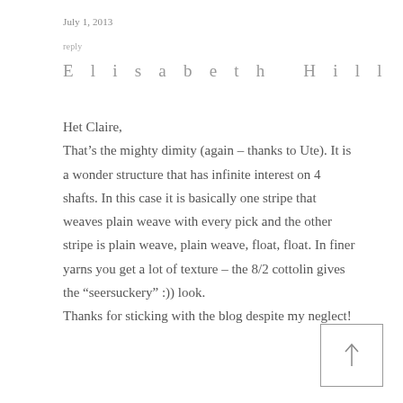July 1, 2013
reply
Elisabeth Hill
Het Claire,
That’s the mighty dimity (again – thanks to Ute). It is a wonder structure that has infinite interest on 4 shafts. In this case it is basically one stripe that weaves plain weave with every pick and the other stripe is plain weave, plain weave, float, float. In finer yarns you get a lot of texture – the 8/2 cottolin gives the “seersuckery” :)) look.
Thanks for sticking with the blog despite my neglect!